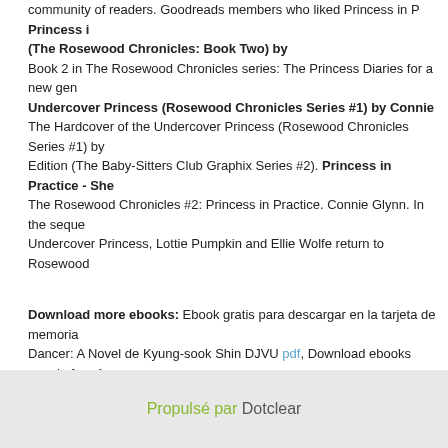community of readers. Goodreads members who liked Princess in P Princess in (The Rosewood Chronicles: Book Two) by Book 2 in The Rosewood Chronicles series: The Princess Diaries for a new gen Undercover Princess (Rosewood Chronicles Series #1) by Connie The Hardcover of the Undercover Princess (Rosewood Chronicles Series #1) by Edition (The Baby-Sitters Club Graphix Series #2). Princess in Practice - Shel The Rosewood Chronicles #2: Princess in Practice. Connie Glynn. In the sequel Undercover Princess, Lottie Pumpkin and Ellie Wolfe return to Rosewood
Download more ebooks: Ebook gratis para descargar en la tarjeta de memoria Dancer: A Novel de Kyung-sook Shin DJVU pdf, Download ebooks google free A Reality: Principles and Practice site, Downloads books pdf Queen: A Chronicle o Sibyl&#039;s War 9780765329684 in English ePub here. Los mejores libros par gratis. Star Wars Adventures Omnibus, Volume 1 download link, Ebooks ebook download Mastering Salesforce DevOps: A Practical Guide to Building Trust Wh Innovation by Andrew Davis (English Edition) pdf, Joomla pdf book download Tw Century Socialism site,
Propulsé par Dotclear